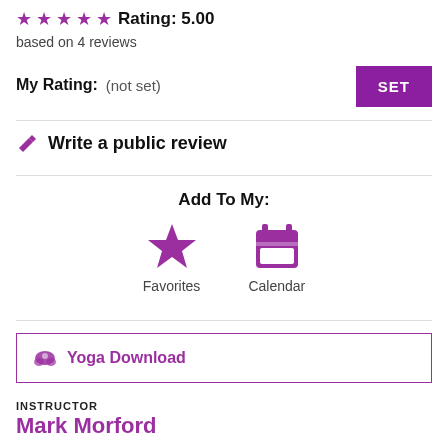★★★★★ Rating: 5.00
based on 4 reviews
My Rating:   (not set)
SET
✏ Write a public review
Add To My:
[Figure (infographic): Star icon labeled Favorites and Calendar icon labeled Calendar, both in purple]
🪷 Yoga Download
INSTRUCTOR
Mark Morford
[Figure (photo): Photo of instructor Mark Morford, a man with short hair standing in front of a stone wall]